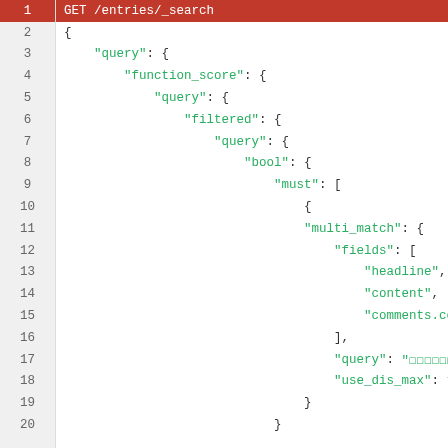[Figure (screenshot): Code editor showing a GET /entries/_search JSON query with function_score, filtered, bool/must, multi_match fields including headline, content, comments.content, with use_dis_max: true. Line numbers 1-20 shown on left, line 1 highlighted in red.]